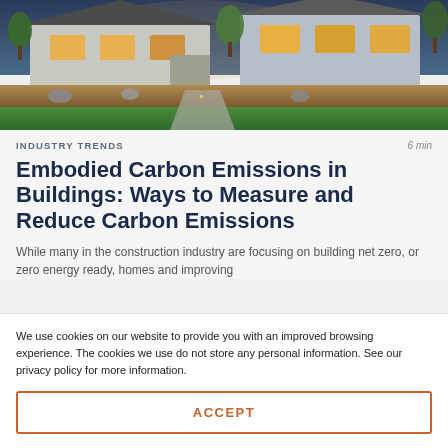[Figure (photo): Exterior photo of a modern residential home at dusk with green lawn, landscaping, trees, and driveway]
INDUSTRY TRENDS
6 min
Embodied Carbon Emissions in Buildings: Ways to Measure and Reduce Carbon Emissions
While many in the construction industry are focusing on building net zero, or zero energy ready, homes and improving
We use cookies on our website to provide you with an improved browsing experience. The cookies we use do not store any personal information. See our privacy policy for more information.
ACCEPT